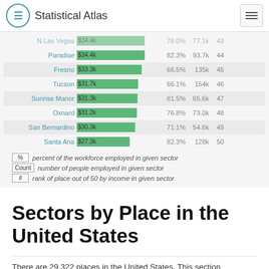Statistical Atlas
[Figure (bar-chart): Workforce employment by place]
% — percent of the workforce employed in given sector
Count — number of people employed in given sector
# — rank of place out of 50 by income in given sector
Sectors by Place in the United States
There are 29,322 places in the United States. This section compares Laguna Beach to the 50 most populous places in the United States and to those entities that contain or substantially